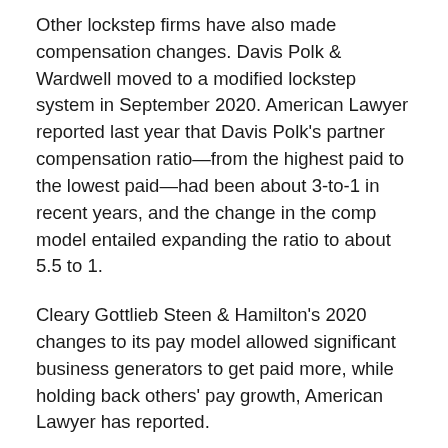Other lockstep firms have also made compensation changes. Davis Polk & Wardwell moved to a modified lockstep system in September 2020. American Lawyer reported last year that Davis Polk's partner compensation ratio—from the highest paid to the lowest paid—had been about 3-to-1 in recent years, and the change in the comp model entailed expanding the ratio to about 5.5 to 1.
Cleary Gottlieb Steen & Hamilton's 2020 changes to its pay model allowed significant business generators to get paid more, while holding back others' pay growth, American Lawyer has reported.
Christine Simmons contributed to this report.